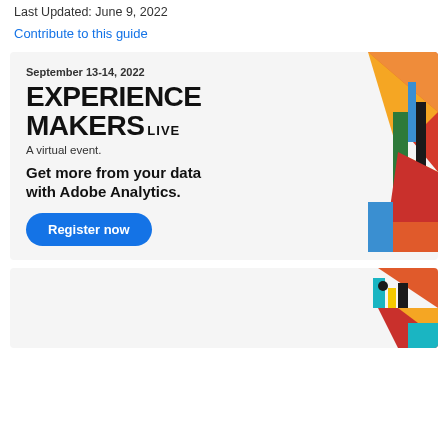Last Updated: June 9, 2022
Contribute to this guide
[Figure (infographic): Adobe Experience Makers Live advertisement banner. Shows date September 13-14 2022, title EXPERIENCE MAKERS LIVE, subtitle A virtual event., tagline Get more from your data with Adobe Analytics., and a Register now button. Right side has colorful geometric shapes (flags/banners in orange, red, blue, green, yellow).]
[Figure (infographic): Second Adobe advertisement banner (partially visible). Shows colorful geometric shapes (black, teal, yellow, orange, red) on the right side. Banner content is cut off.]